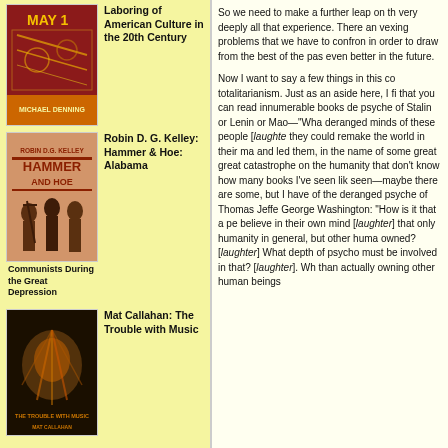[Figure (illustration): Book cover: Laboring of American Culture in the 20th Century by Michael Denning, with red and orange decorative design]
Laboring of American Culture in the 20th Century
[Figure (illustration): Book cover: Hammer and Hoe: Alabama Communists During the Great Depression by Robin D.G. Kelley, showing three silhouetted figures]
Robin D. G. Kelley: Hammer & Hoe: Alabama
Communists During the Great Depression
[Figure (illustration): Book cover: The Trouble with Music by Mat Callahan, dark image with figure]
Mat Callahan: The Trouble with Music
So we need to make a further leap on the very deeply all that experience. There an vexing problems that we have to confron in order to draw from the best of the past even better in the future.

Now I want to say a few things in this co totalitarianism. Just as an aside here, I fi that you can read innumerable books de psyche of Stalin or Lenin or Mao—"What deranged minds of these people [laughte they could remake the world in their mad and led them, in the name of some great great catastrophe on the humanity that t don't know how many books I've seen lik seen—maybe there are some, but I have of the deranged psyche of Thomas Jeffe George Washington: "How is it that a per believe in their own mind [laughter] that only humanity in general, but other huma owned? [laughter] What depth of psycho must be involved in that? [laughter]. Wha than actually owning other human beings